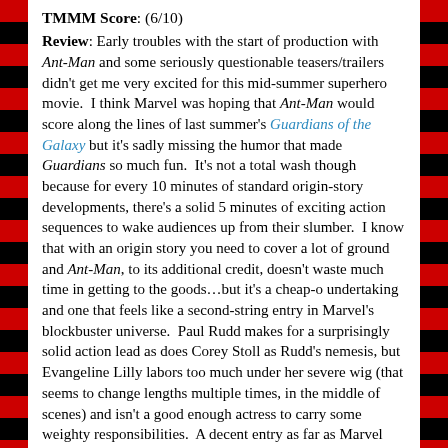TMMM Score: (6/10)
Review: Early troubles with the start of production with Ant-Man and some seriously questionable teasers/trailers didn't get me very excited for this mid-summer superhero movie. I think Marvel was hoping that Ant-Man would score along the lines of last summer's Guardians of the Galaxy but it's sadly missing the humor that made Guardians so much fun. It's not a total wash though because for every 10 minutes of standard origin-story developments, there's a solid 5 minutes of exciting action sequences to wake audiences up from their slumber. I know that with an origin story you need to cover a lot of ground and Ant-Man, to its additional credit, doesn't waste much time in getting to the goods…but it's a cheap-o undertaking and one that feels like a second-string entry in Marvel's blockbuster universe. Paul Rudd makes for a surprisingly solid action lead as does Corey Stoll as Rudd's nemesis, but Evangeline Lilly labors too much under her severe wig (that seems to change lengths multiple times, in the middle of scenes) and isn't a good enough actress to carry some weighty responsibilities. A decent entry as far as Marvel films go…but I'm not clamoring for a sequel any time